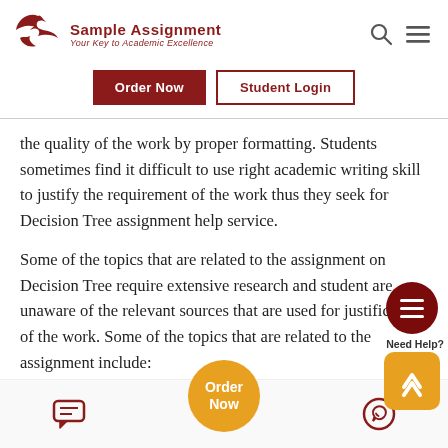Sample Assignment — Your Key to Academic Excellence
the quality of the work by proper formatting. Students sometimes find it difficult to use right academic writing skill to justify the requirement of the work thus they seek for Decision Tree assignment help service.
Some of the topics that are related to the assignment on Decision Tree require extensive research and student are unaware of the relevant sources that are used for justification of the work. Some of the topics that are related to the assignment include:
Order Now | chat icon | whatsapp icon